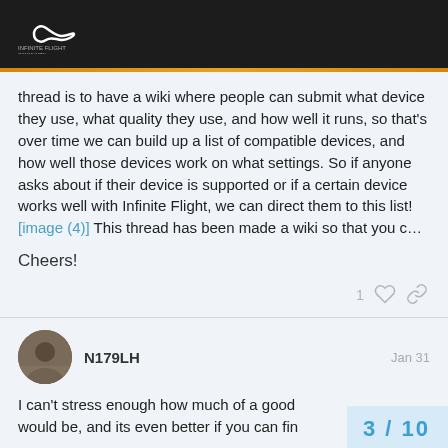Infinite Flight community forum header with logo
thread is to have a wiki where people can submit what device they use, what quality they use, and how well it runs, so that's over time we can build up a list of compatible devices, and how well those devices work on what settings. So if anyone asks about if their device is supported or if a certain device works well with Infinite Flight, we can direct them to this list! [image (4)] This thread has been made a wiki so that you c…
Cheers!
N179LH   Jan 31
I can't stress enough how much of a good  would be, and its even better if you can fin
3 / 10